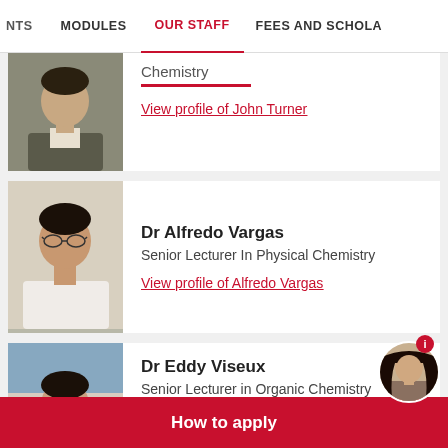NTS  MODULES  OUR STAFF  FEES AND SCHOLA
Chemistry
View profile of John Turner
[Figure (photo): Partial photo of John Turner, a man in a suit jacket]
Dr Alfredo Vargas
Senior Lecturer In Physical Chemistry
View profile of Alfredo Vargas
[Figure (photo): Photo of Dr Alfredo Vargas, a man with glasses]
Dr Eddy Viseux
Senior Lecturer in Organic Chemistry
[Figure (photo): Photo of Dr Eddy Viseux, a bearded man smiling outdoors]
[Figure (photo): Chat avatar: woman with long dark hair]
How to apply